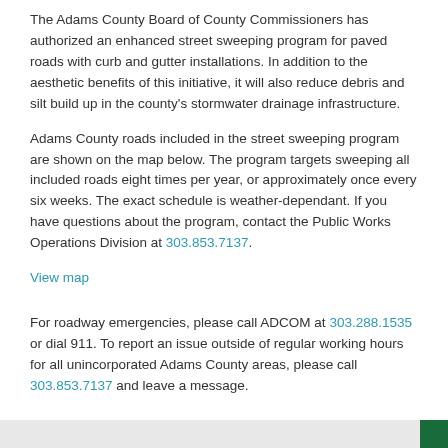The Adams County Board of County Commissioners has authorized an enhanced street sweeping program for paved roads with curb and gutter installations. In addition to the aesthetic benefits of this initiative, it will also reduce debris and silt build up in the county's stormwater drainage infrastructure.
Adams County roads included in the street sweeping program are shown on the map below. The program targets sweeping all included roads eight times per year, or approximately once every six weeks. The exact schedule is weather-dependant. If you have questions about the program, contact the Public Works Operations Division at 303.853.7137.
View map
For roadway emergencies, please call ADCOM at 303.288.1535 or dial 911. To report an issue outside of regular working hours for all unincorporated Adams County areas, please call 303.853.7137 and leave a message.